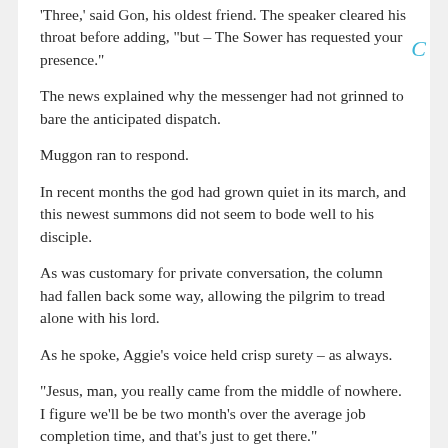'Three,' said Gon, his oldest friend. The speaker cleared his throat before adding, 'but – The Sower has requested your presence.'
The news explained why the messenger had not grinned to bare the anticipated dispatch.
Muggon ran to respond.
In recent months the god had grown quiet in its march, and this newest summons did not seem to bode well to his disciple.
As was customary for private conversation, the column had fallen back some way, allowing the pilgrim to tread alone with his lord.
As he spoke, Aggie's voice held crisp surety – as always.
"Jesus, man, you really came from the middle of nowhere. I figure we'll be be two month's over the average job completion time, and that's just to get there."